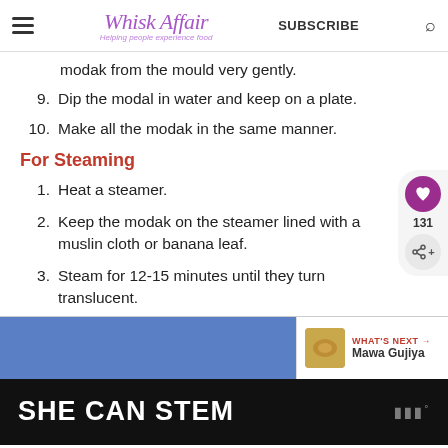Whisk Affair — Helping people experience food — SUBSCRIBE
…modak from the mould very gently.
9. Dip the modal in water and keep on a plate.
10. Make all the modak in the same manner.
For Steaming
1. Heat a steamer.
2. Keep the modak on the steamer lined with a muslin cloth or banana leaf.
3. Steam for 12-15 minutes until they turn translucent.
[Figure (infographic): What's Next banner with blue panel and Mawa Gujiya thumbnail and text]
[Figure (screenshot): Ad banner reading SHE CAN STEM with logo on dark background]